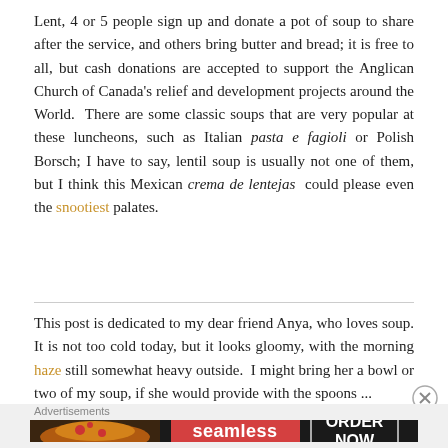Lent, 4 or 5 people sign up and donate a pot of soup to share after the service, and others bring butter and bread; it is free to all, but cash donations are accepted to support the Anglican Church of Canada's relief and development projects around the World. There are some classic soups that are very popular at these luncheons, such as Italian pasta e fagioli or Polish Borsch; I have to say, lentil soup is usually not one of them, but I think this Mexican crema de lentejas could please even the snootiest palates.
This post is dedicated to my dear friend Anya, who loves soup. It is not too cold today, but it looks gloomy, with the morning haze still somewhat heavy outside. I might bring her a bowl or two of my soup, if she would provide with the spoons ...
[Figure (screenshot): Seamless food delivery advertisement banner with pizza image on left, Seamless logo in center, and ORDER NOW button on right, on dark background.]